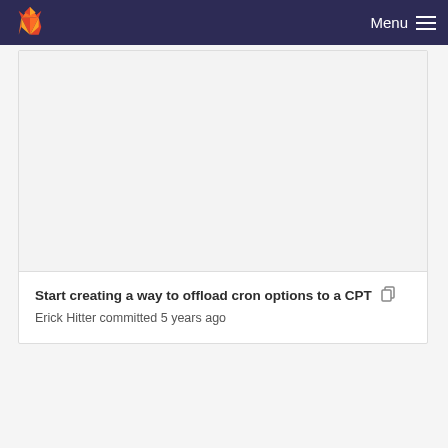Menu
Start creating a way to offload cron options to a CPT
Erick Hitter committed 5 years ago